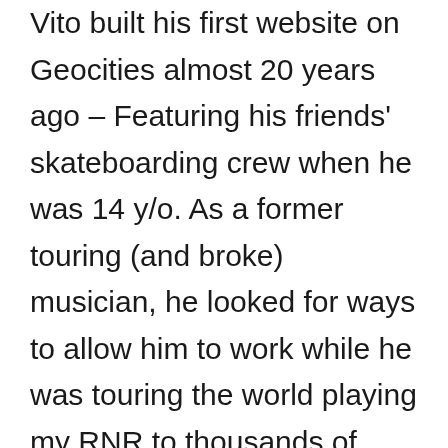Vito built his first website on Geocities almost 20 years ago – Featuring his friends' skateboarding crew when he was 14 y/o. As a former touring (and broke) musician, he looked for ways to allow him to work while he was touring the world playing my RNR to thousands of people and the web was, once again, there for him.

He started to build websites for clients from the back of the van (and